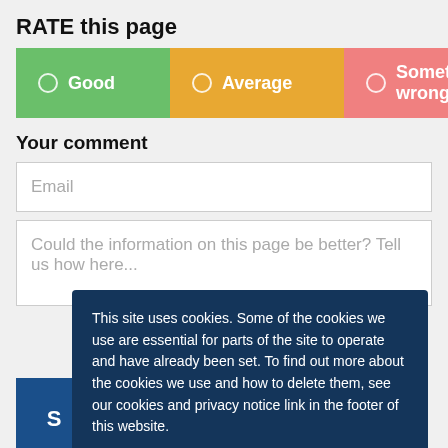RATE this page
[Figure (other): Three rating buttons: Good (green), Average (amber/orange), Something wrong (pink/red), each with a radio circle icon]
Your comment
Email
Could the information on this page be better? Tell us how here...
This site uses cookies. Some of the cookies we use are essential for parts of the site to operate and have already been set. To find out more about the cookies we use and how to delete them, see our cookies and privacy notice link in the footer of this website.

Click to accept cookies